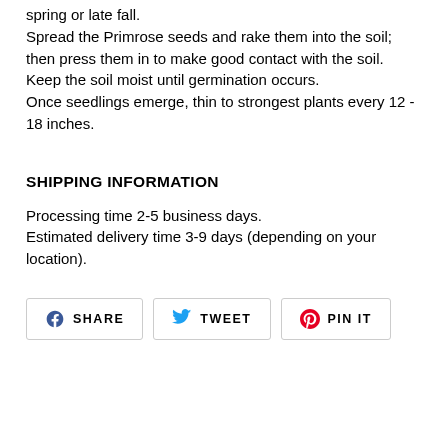spring or late fall.
Spread the Primrose seeds and rake them into the soil; then press them in to make good contact with the soil. Keep the soil moist until germination occurs.
Once seedlings emerge, thin to strongest plants every 12 - 18 inches.
SHIPPING INFORMATION
Processing time 2-5 business days.
Estimated delivery time 3-9 days (depending on your location).
[Figure (other): Social share buttons: SHARE (Facebook), TWEET (Twitter), PIN IT (Pinterest)]